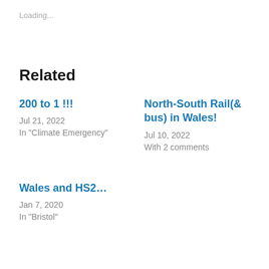Loading...
Related
200 to 1 !!!
Jul 21, 2022
In "Climate Emergency"
North-South Rail(& bus) in Wales!
Jul 10, 2022
With 2 comments
Wales and HS2…
Jan 7, 2020
In "Bristol"